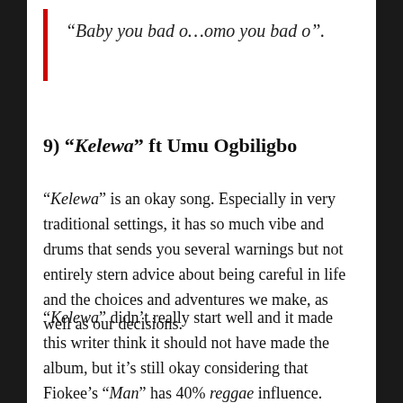“Baby you bad o…omo you bad o”.
9) “Kelewa” ft Umu Ogbiligbo
“Kelewa” is an okay song. Especially in very traditional settings, it has so much vibe and drums that sends you several warnings but not entirely stern advice about being careful in life and the choices and adventures we make, as well as our decisions.
“Kelewa” didn’t really start well and it made this writer think it should not have made the album, but it’s still okay considering that Fiokee’s “Man” has 40% reggae influence.